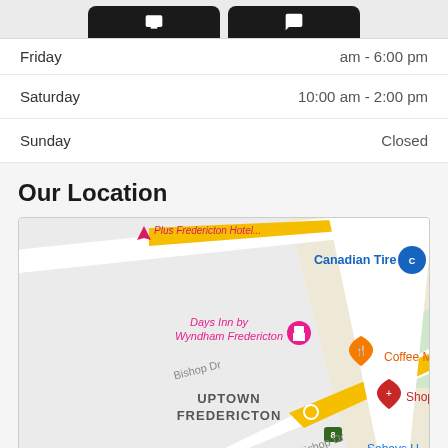[Figure (screenshot): Top of page showing two dark rounded buttons (tablet/chat icons) partially visible]
Friday	am - 6:00 pm
Saturday	10:00 am - 2:00 pm
Sunday	Closed
Our Location
[Figure (map): Google Maps screenshot showing Uptown Fredericton area with Bishop Dr, Days Inn by Wyndham Fredericton, Canadian Tire, Coffee Mill, Shoppers Drug Mart, Sobeys Uptown markers visible]